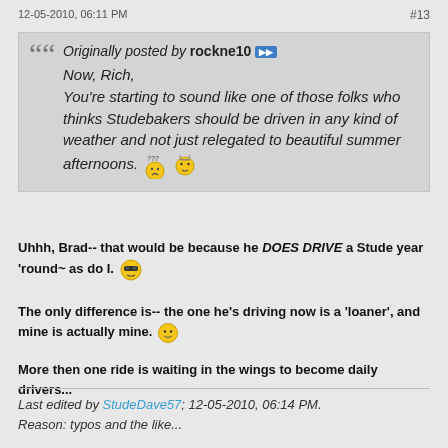12-05-2010, 06:11 PM    #13
Originally posted by rockne10
Now, Rich,
You're starting to sound like one of those folks who thinks Studebakers should be driven in any kind of weather and not just relegated to beautiful summer afternoons.
Uhhh, Brad-- that would be because he DOES DRIVE a Stude year 'round~ as do I.
The only difference is-- the one he's driving now is a 'loaner', and mine is actually mine.
More then one ride is waiting in the wings to become daily drivers...
Last edited by StudeDave57; 12-05-2010, 06:14 PM. Reason: typos and the like...